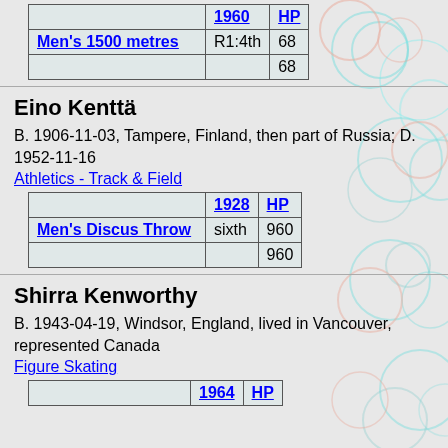| Event | 1960 | HP |
| --- | --- | --- |
| Men's 1500 metres | R1:4th | 68 |
|  |  | 68 |
Eino Kenttä
B. 1906-11-03, Tampere, Finland, then part of Russia; D. 1952-11-16
Athletics - Track & Field
| Event | 1928 | HP |
| --- | --- | --- |
| Men's Discus Throw | sixth | 960 |
|  |  | 960 |
Shirra Kenworthy
B. 1943-04-19, Windsor, England, lived in Vancouver, represented Canada
Figure Skating
| Event | 1964 | HP |
| --- | --- | --- |